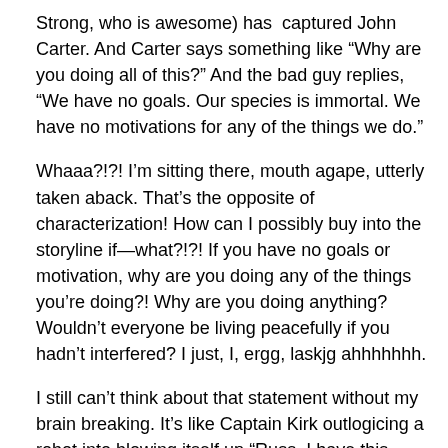Strong, who is awesome) has captured John Carter. And Carter says something like “Why are you doing all of this?” And the bad guy replies, “We have no goals. Our species is immortal. We have no motivations for any of the things we do.”
Whaaa?!?! I’m sitting there, mouth agape, utterly taken aback. That’s the opposite of characterization! How can I possibly buy into the storyline if—what?!?! If you have no goals or motivation, why are you doing any of the things you’re doing?! Why are you doing anything? Wouldn’t everyone be living peacefully if you hadn’t interfered? I just, I, ergg, laskjg ahhhhhhh.
I still can’t think about that statement without my brain breaking. It’s like Captain Kirk outlogicing a robot into blowing itself up “Russ, I have this great idea for a